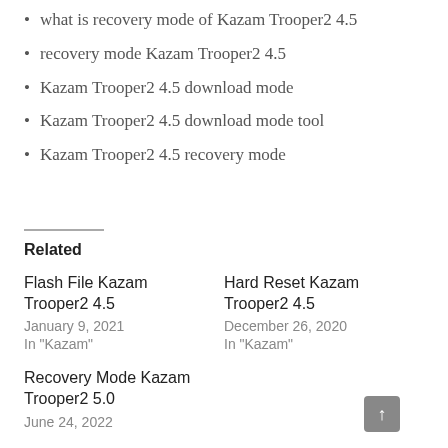what is recovery mode of Kazam Trooper2 4.5
recovery mode Kazam Trooper2 4.5
Kazam Trooper2 4.5 download mode
Kazam Trooper2 4.5 download mode tool
Kazam Trooper2 4.5 recovery mode
Related
Flash File Kazam Trooper2 4.5
January 9, 2021
In "Kazam"
Hard Reset Kazam Trooper2 4.5
December 26, 2020
In "Kazam"
Recovery Mode Kazam Trooper2 5.0
June 24, 2022